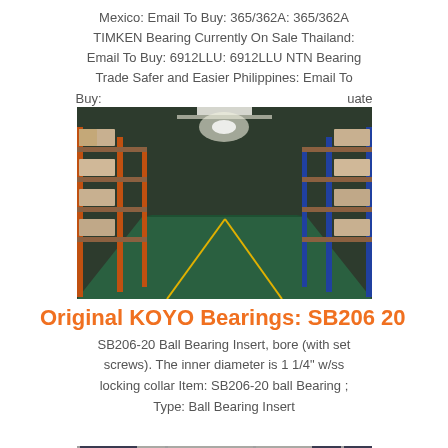Mexico: Email To Buy: 365/362A: 365/362A TIMKEN Bearing Currently On Sale Thailand: Email To Buy: 6912LLU: 6912LLU NTN Bearing Trade Safer and Easier Philippines: Email To Buy: ... uate
[Figure (photo): Interior of a warehouse with tall orange and blue metal shelving racks loaded with boxes, green floor, perspective view down the aisle]
Original KOYO Bearings: SB206 20
SB206-20 Ball Bearing Insert, bore (with set screws). The inner diameter is 1 1/4" w/ss locking collar Item: SB206-20 ball Bearing ; Type: Ball Bearing Insert
[Figure (photo): Interior of a warehouse or store with shelves of bearing products and boxes]